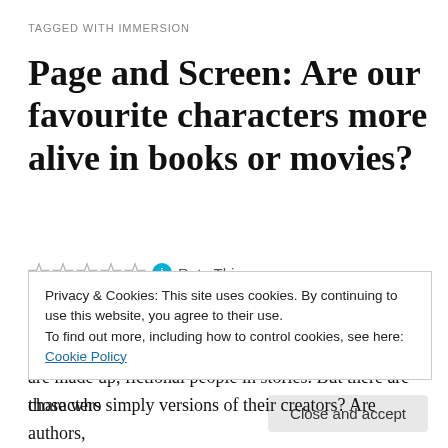TAGGED WITH IMMERSION
Page and Screen: Are our favourite characters more alive in books or movies?
☆☆☆☆☆ ℹ Rate This
The idea of character is more complicated than we allow ourselves to realise. Of course put simply they are made up, fictional people in stories. But there are those who
Privacy & Cookies: This site uses cookies. By continuing to use this website, you agree to their use.
To find out more, including how to control cookies, see here: Cookie Policy
Close and accept
characters simply versions of their creators? Are authors,